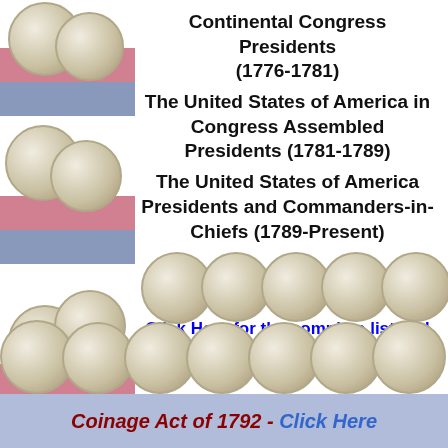Continental Congress Presidents (1776-1781)
The United States of America in Congress Assembled Presidents (1781-1789)
The United States of America Presidents and Commanders-in-Chiefs (1789-Present)
Click Here for the complete list and links to their biographies
Coinage Act of 1792 - Click Here